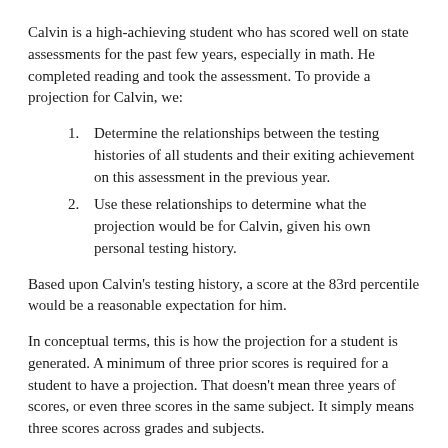Calvin is a high-achieving student who has scored well on state assessments for the past few years, especially in math. He completed reading and took the assessment. To provide a projection for Calvin, we:
Determine the relationships between the testing histories of all students and their exiting achievement on this assessment in the previous year.
Use these relationships to determine what the projection would be for Calvin, given his own personal testing history.
Based upon Calvin's testing history, a score at the 83rd percentile would be a reasonable expectation for him.
In conceptual terms, this is how the projection for a student is generated. A minimum of three prior scores is required for a student to have a projection. That doesn't mean three years of scores, or even three scores in the same subject. It simply means three scores across grades and subjects.
The model determines the relationships between all